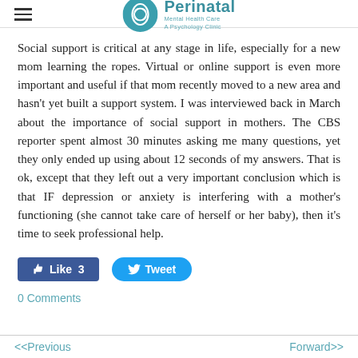Perinatal Mental Health Care A Psychology Clinic
Social support is critical at any stage in life, especially for a new mom learning the ropes. Virtual or online support is even more important and useful if that mom recently moved to a new area and hasn't yet built a support system. I was interviewed back in March about the importance of social support in mothers. The CBS reporter spent almost 30 minutes asking me many questions, yet they only ended up using about 12 seconds of my answers. That is ok, except that they left out a very important conclusion which is that IF depression or anxiety is interfering with a mother's functioning (she cannot take care of herself or her baby), then it's time to seek professional help.
Like 3   Tweet
0 Comments
<<Previous   Forward>>